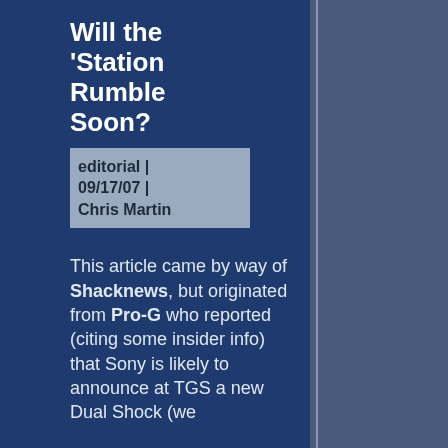Will the 'Station Rumble Soon?
editorial | 09/17/07 | Chris Martin
This article came by way of Shacknews, but originated from Pro-G who reported (citing some insider info) that Sony is likely to announce at TGS a new Dual Shock (we